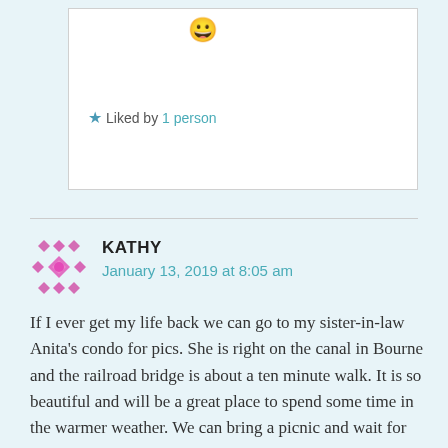[Figure (illustration): Smiley face emoji 😀 in yellow]
★ Liked by 1 person
[Figure (illustration): Pink/magenta decorative diamond pattern avatar icon for Kathy]
KATHY
January 13, 2019 at 8:05 am
If I ever get my life back we can go to my sister-in-law Anita's condo for pics. She is right on the canal in Bourne and the railroad bridge is about a ten minute walk. It is so beautiful and will be a great place to spend some time in the warmer weather. We can bring a picnic and wait for ships! You certainly do take advantage of the area